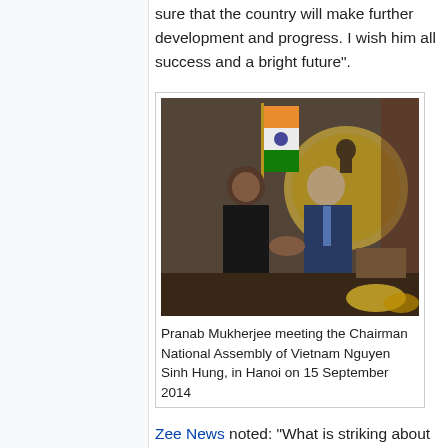sure that the country will make further development and progress. I wish him all success and a bright future".
[Figure (photo): Pranab Mukherjee shaking hands with Chairman National Assembly of Vietnam Nguyen Sinh Hung, in Hanoi on 15 September 2014, with an Indian flag and a golden decorative backdrop in the background.]
Pranab Mukherjee meeting the Chairman National Assembly of Vietnam Nguyen Sinh Hung, in Hanoi on 15 September 2014
Zee News noted: "What is striking about [Mukherjee] is that after more than four decades in public life, the Opposition had no ammunition against him after he was declared UPA's choice for